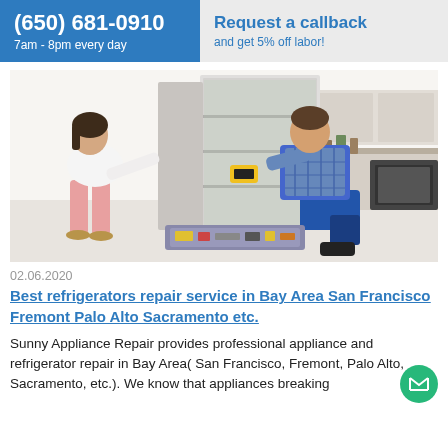(650) 681-0910  7am - 8pm every day  |  Request a callback  and get 5% off labor!
[Figure (photo): A woman and a male technician in blue overalls examining the inside of an open refrigerator in a kitchen, with a toolbox open on the floor in front.]
02.06.2020
Best refrigerators repair service in Bay Area San Francisco Fremont Palo Alto Sacramento etc.
Sunny Appliance Repair provides professional appliance and refrigerator repair in Bay Area( San Francisco, Fremont, Palo Alto, Sacramento, etc.). We know that appliances breaking